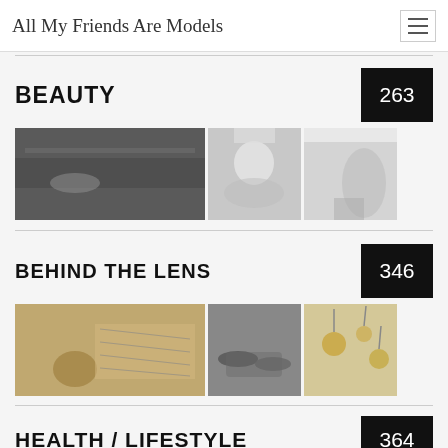All My Friends Are Models
BEAUTY
[Figure (photo): Three photos in BEAUTY category: woman lying on cars in airport, woman with towel on head, woman in white outfit outdoors]
BEHIND THE LENS
[Figure (photo): Three photos in BEHIND THE LENS category: handwritten note with flower, black and white hands holding, yellow flowers]
HEALTH / LIFESTYLE